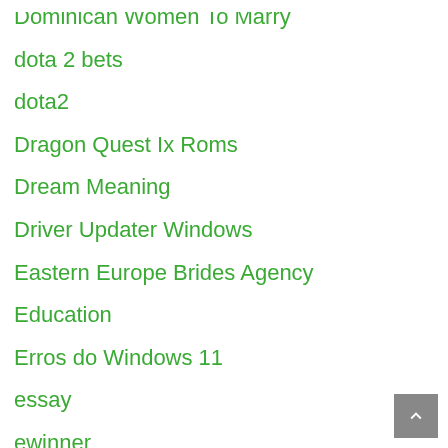Dominican Women To Marry
dota 2 bets
dota2
Dragon Quest Ix Roms
Dream Meaning
Driver Updater Windows
Eastern Europe Brides Agency
Education
Erros do Windows 11
essay
ewinner
Existencialismo
fair
fair go
family
faq